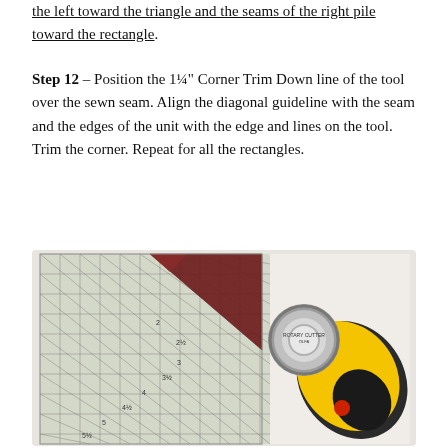the left toward the triangle and the seams of the right pile toward the rectangle.
Step 12 – Position the 1¼" Corner Trim Down line of the tool over the sewn seam. Align the diagonal guideline with the seam and the edges of the unit with the edge and lines on the tool. Trim the corner. Repeat for all the rectangles.
[Figure (photo): A photograph showing a quilting ruler/cutting guide placed over a dark red/burgundy fabric piece, with a yellow and black OLFA rotary cutter beside it on a white cutting mat.]